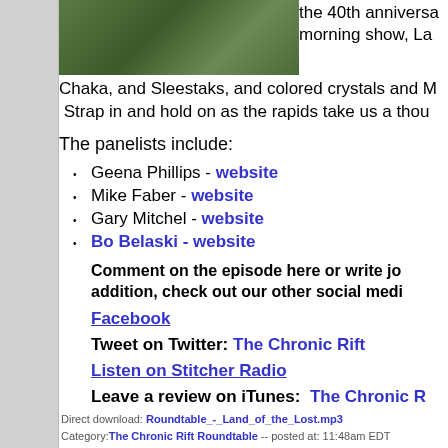[Figure (photo): Green/jungle themed photo, likely from Land of the Lost TV show]
the 40th anniversa morning show, La
Chaka, and Sleestaks, and colored crystals and M Strap in and hold on as the rapids take us a thou
The panelists include:
Geena Phillips - website
Mike Faber - website
Gary Mitchel - website
Bo Belaski - website
Comment on the episode here or write jo addition, check out our other social medi
Facebook
Tweet on Twitter: The Chronic Rift
Listen on Stitcher Radio
Leave a review on iTunes: The Chronic R
Direct download: Roundtable_-_Land_of_the_Lost.mp3 Category:The Chronic Rift Roundtable -- posted at: 11:48am EDT